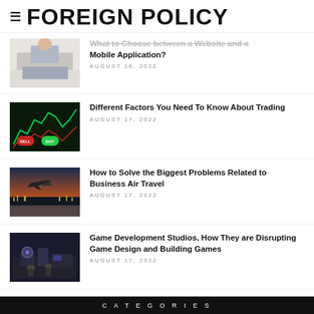FOREIGN POLICY
What to Choose between a Website and a Mobile Application? AUGUST 18, 2022
Different Factors You Need To Know About Trading AUGUST 17, 2022
How to Solve the Biggest Problems Related to Business Air Travel AUGUST 17, 2022
Game Development Studios, How They are Disrupting Game Design and Building Games AUGUST 17, 2022
CATEGORIES